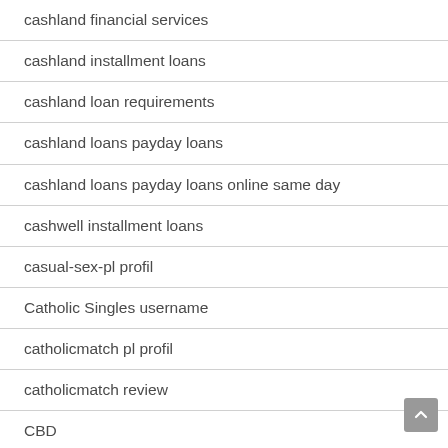cashland financial services
cashland installment loans
cashland loan requirements
cashland loans payday loans
cashland loans payday loans online same day
cashwell installment loans
casual-sex-pl profil
Catholic Singles username
catholicmatch pl profil
catholicmatch review
CBD
cdates.org Werbe-Code
centennial escort